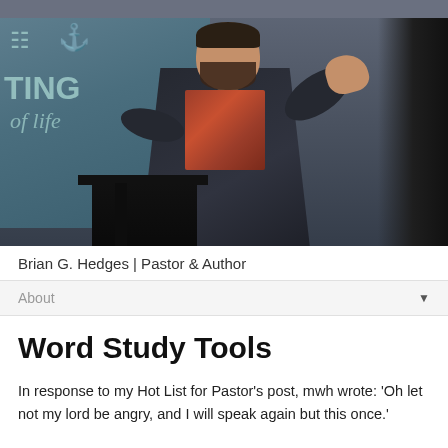[Figure (photo): A man with a beard speaking at a podium, gesturing with his right hand raised. Behind him is a projection screen showing an anchor symbol and partially visible text reading 'TING' and 'of life'. The setting appears to be a church or conference.]
Brian G. Hedges | Pastor & Author
About
Word Study Tools
In response to my Hot List for Pastor's post, mwh wrote: 'Oh let not my lord be angry, and I will speak again but this once.'